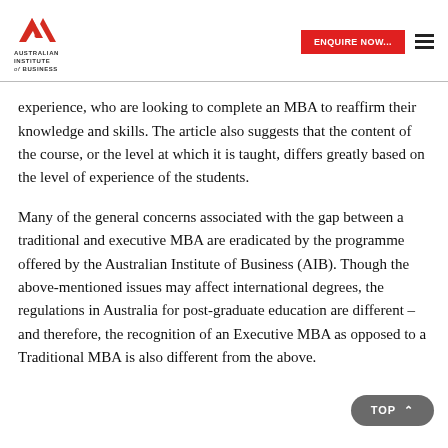[Figure (logo): Australian Institute of Business logo with red stylized bird/wing mark and text below]
experience, who are looking to complete an MBA to reaffirm their knowledge and skills. The article also suggests that the content of the course, or the level at which it is taught, differs greatly based on the level of experience of the students.
Many of the general concerns associated with the gap between a traditional and executive MBA are eradicated by the programme offered by the Australian Institute of Business (AIB). Though the above-mentioned issues may affect international degrees, the regulations in Australia for post-graduate education are different – and therefore, the recognition of an Executive MBA as opposed to a Traditional MBA is also different from the above.